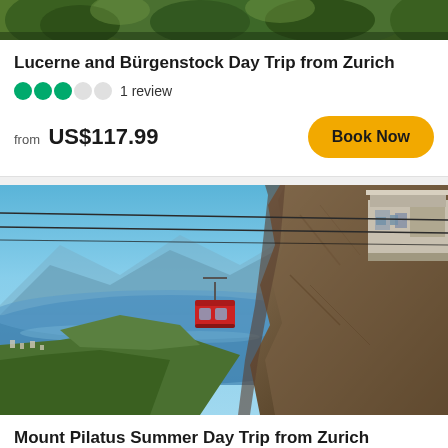[Figure (photo): Top portion of a scenic photo with green forest/trees visible at the top]
Lucerne and Bürgenstock Day Trip from Zurich
●●●○○ 1 review
from US$117.99
Book Now
[Figure (photo): Aerial photo of Mount Pilatus cable car / gondola (red cabin) over Lake Lucerne and surrounding Alps landscape, with a cable car station building visible on the right]
Mount Pilatus Summer Day Trip from Zurich
●●●●◐ 331 reviews